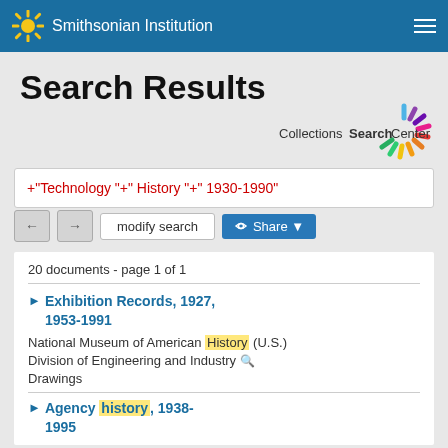Smithsonian Institution
Search Results
[Figure (logo): CollectionsSearchCenter logo with colorful starburst]
+"Technology "+" History "+" 1930-1990"
modify search  Share
20 documents - page 1 of 1
Exhibition Records, 1927, 1953-1991
National Museum of American History (U.S.) Division of Engineering and Industry
Drawings
Agency history, 1938-1995